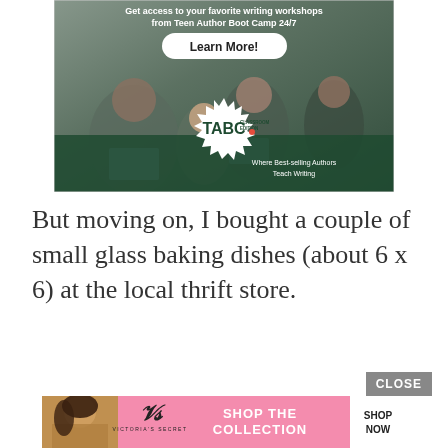[Figure (screenshot): Advertisement banner for Teen Author Boot Camp (TABC) Classroom Edition. Shows students working at laptops, a 'Learn More!' button, the TABC logo with spiky border, and tagline 'Where Best-selling Authors Teach Writing'.]
But moving on, I bought a couple of small glass baking dishes (about 6 x 6) at the local thrift store.
[Figure (screenshot): CLOSE button overlay and Victoria's Secret advertisement banner showing a woman, Victoria's Secret logo, 'SHOP THE COLLECTION' text, and 'SHOP NOW' button on pink background.]